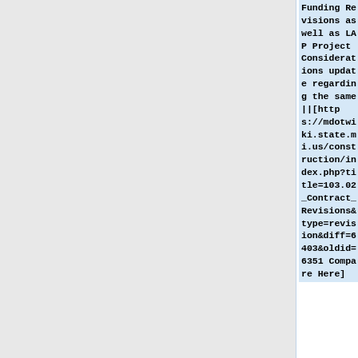Funding Revisions as well as LAP Project Considerations update regarding the same||[https://mdotwiki.state.mi.us/construction/index.php?title=103.02_Contract_Revisions&type=revision&diff=6403&oldid=6351 Compare Here]